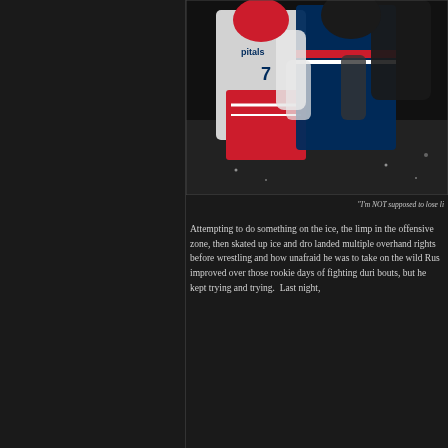[Figure (photo): Hockey fight photo showing players in Washington Capitals white jersey and Columbus Blue Jackets dark jersey grappling on ice]
"I'm NOT supposed to lose li
Attempting to do something on the ice, the limp in the offensive zone, then skated up ice and dro landed multiple overhand rights before wrestling and how unafraid he was to take on the wild Rus improved over those rookie days of fighting duri bouts, but he kept trying and trying.  Last night,